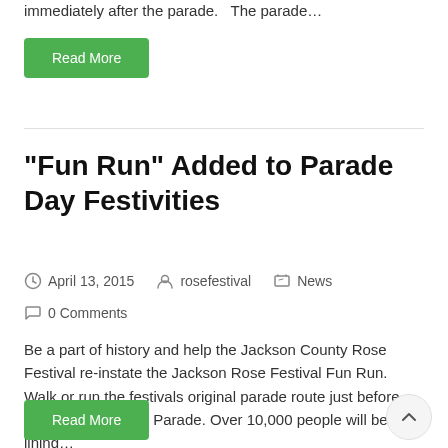immediately after the parade.   The parade…
Read More
“Fun Run” Added to Parade Day Festivities
April 13, 2015   rosefestival   News   0 Comments
Be a part of history and help the Jackson County Rose Festival re-instate the Jackson Rose Festival Fun Run. Walk or run the festivals original parade route just before our 57 annual rose Parade. Over 10,000 people will be lining…
Read More